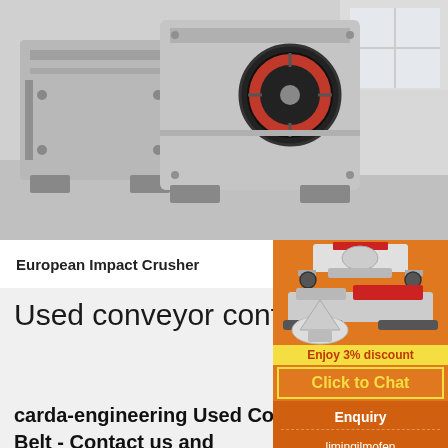[Figure (photo): Industrial European Impact Crusher machine, heavy grey metal body with red flywheel, photographed in a factory/warehouse setting]
European Impact Crusher
Used conveyor contact
carda-engineering Used Conveyor Belt - Contact us and
A used conveyor belt is a portable, station...
[Figure (illustration): Orange sidebar banner showing multiple industrial machines (cone crusher, impact crusher, mobile crushing plant), with text 'Enjoy 3% discount' and 'Click to Chat' button]
Enquiry
limingjlmofen@sina.com